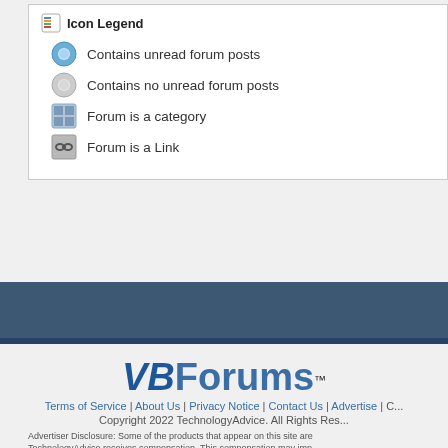Icon Legend
Contains unread forum posts
Contains no unread forum posts
Forum is a category
Forum is a Link
[Figure (logo): VBForums logo with trademark symbol]
Terms of Service | About Us | Privacy Notice | Contact Us | Advertise | C...
Copyright 2022 TechnologyAdvice. All Rights Res...
Advertiser Disclosure: Some of the products that appear on this site are... TechnologyAdvice receives compensation. This compensation may imp... appear on this site including, for example, the order in which they appea... include all companies or all types of products available in the marketplac...
All times are GMT -5. The time now is 09:48 PM.